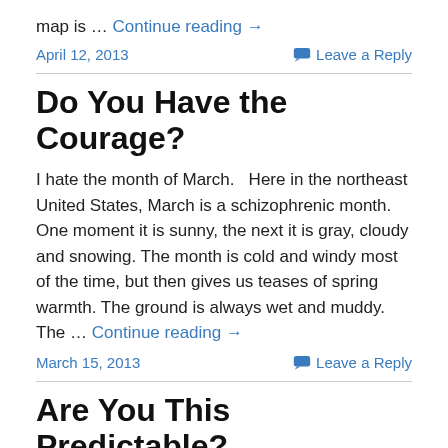map is … Continue reading →
April 12, 2013   Leave a Reply
Do You Have the Courage?
I hate the month of March.   Here in the northeast United States, March is a schizophrenic month. One moment it is sunny, the next it is gray, cloudy and snowing. The month is cold and windy most of the time, but then gives us teases of spring warmth. The ground is always wet and muddy. The … Continue reading →
March 15, 2013   Leave a Reply
Are You This Predictable?